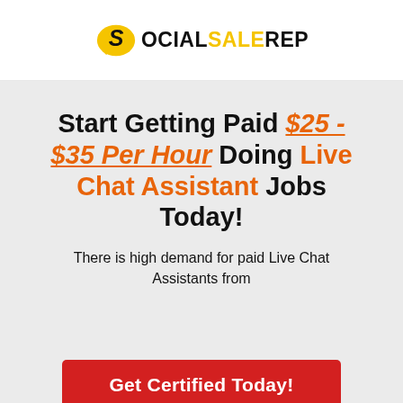[Figure (logo): SocialSaleRep logo with yellow speech bubble icon and stylized S, followed by text OCIALSALEREP]
Start Getting Paid $25 - $35 Per Hour Doing Live Chat Assistant Jobs Today!
There is high demand for paid Live Chat Assistants from
[Figure (other): Red button partially visible at bottom with white text beginning 'Get Certified Today']